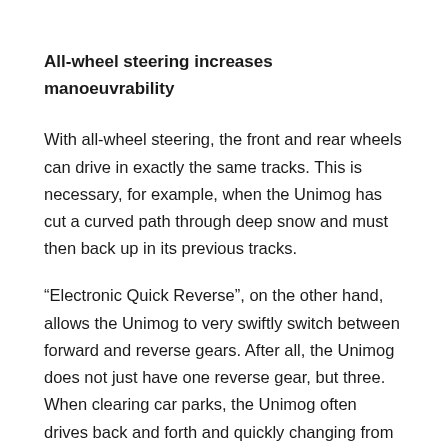All-wheel steering increases manoeuvrability
With all-wheel steering, the front and rear wheels can drive in exactly the same tracks. This is necessary, for example, when the Unimog has cut a curved path through deep snow and must then back up in its previous tracks.
“Electronic Quick Reverse”, on the other hand, allows the Unimog to very swiftly switch between forward and reverse gears. After all, the Unimog does not just have one reverse gear, but three. When clearing car parks, the Unimog often drives back and forth and quickly changing from forwards to backwards increases the snow clearing performance – car parks can thus be cleared faster than without this technology.